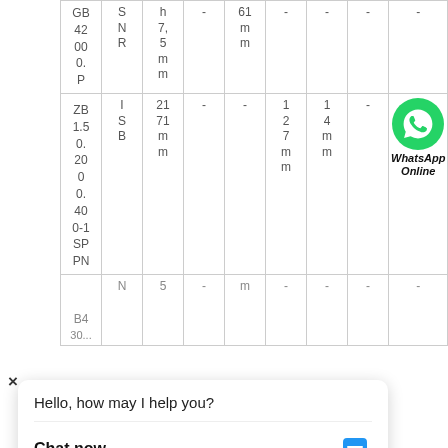| GB 42000. | SNR | h 7, 5mm | - | 61mm | - | - | - | - | 30mm |
| ZB 1.50.2000.40 0-1 SPPN | ISB | 2171mm | - | - | 127mm | 14mm | - | [WhatsApp icon] | 1764mm |
| B4 30... | N | 5 | - | m | - | - | - | - | 30mm |
[Figure (logo): WhatsApp online chat widget with green WhatsApp logo, 'WhatsApp Online' text, a chat bubble saying 'Hello, how may I help you?', and a 'Chat now' button with chat icon.]